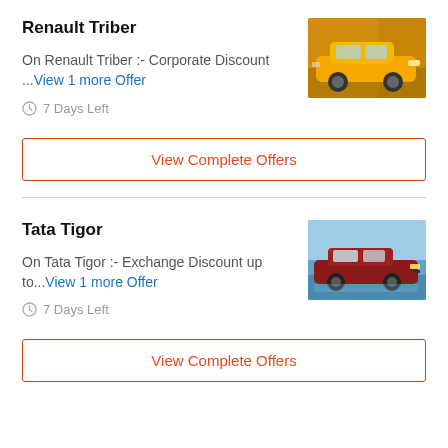Renault Triber
On Renault Triber :- Corporate Discount ...View 1 more Offer
7 Days Left
[Figure (photo): Yellow Renault Triber SUV car photo]
View Complete Offers
Tata Tigor
On Tata Tigor :- Exchange Discount up to...View 1 more Offer
7 Days Left
[Figure (photo): Red Tata Tigor sedan car photo]
View Complete Offers